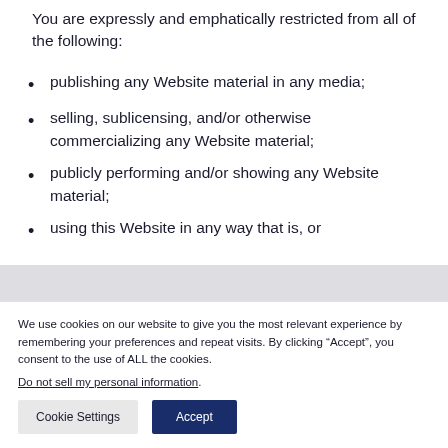You are expressly and emphatically restricted from all of the following:
publishing any Website material in any media;
selling, sublicensing, and/or otherwise commercializing any Website material;
publicly performing and/or showing any Website material;
using this Website in any way that is, or
We use cookies on our website to give you the most relevant experience by remembering your preferences and repeat visits. By clicking “Accept”, you consent to the use of ALL the cookies.
Do not sell my personal information.